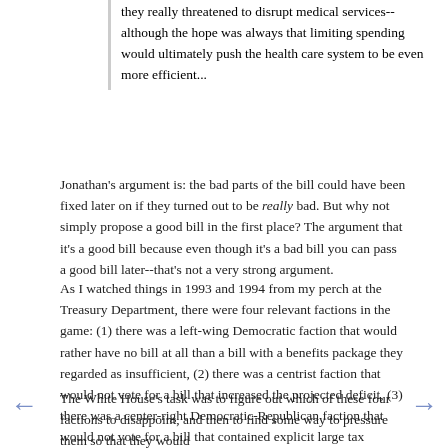they really threatened to disrupt medical services--although the hope was always that limiting spending would ultimately push the health care system to be even more efficient...
Jonathan's argument is: the bad parts of the bill could have been fixed later on if they turned out to be really bad. But why not simply propose a good bill in the first place? The argument that it's a good bill because even though it's a bad bill you can pass a good bill later--that's not a very strong argument.
As I watched things in 1993 and 1994 from my perch at the Treasury Department, there were four relevant factions in the game: (1) there was a left-wing Democratic faction that would rather have no bill at all than a bill with a benefits package they regarded as insufficient, (2) there was a centrist faction that would not vote for a bill that increased the projected deficit, (3) there was a center-right Democratic-Republican faction that would not vote for a bill that contained explicit large tax increases, and (4) there was a faction that was strongly averse to anything that smelled of price controls and explicit rationing--and thus averse to hard premium caps. The support of all four of these factions was necessary to pass a bill.
The White House's task was to figure out which of these four factions to disappoint, and then to find some way to pressure them so that they would